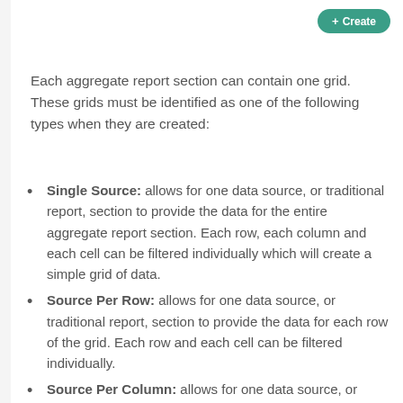Create
Each aggregate report section can contain one grid. These grids must be identified as one of the following types when they are created:
Single Source: allows for one data source, or traditional report, section to provide the data for the entire aggregate report section. Each row, each column and each cell can be filtered individually which will create a simple grid of data.
Source Per Row: allows for one data source, or traditional report, section to provide the data for each row of the grid. Each row and each cell can be filtered individually.
Source Per Column: allows for one data source, or traditional report, section to provide the data for